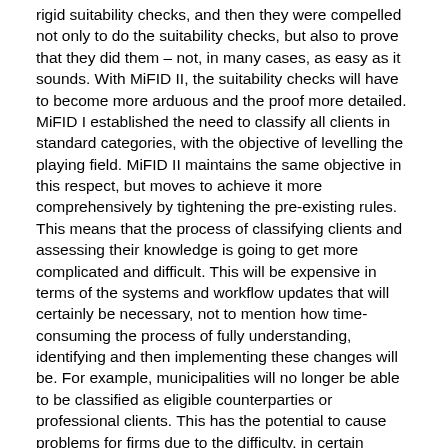rigid suitability checks, and then they were compelled not only to do the suitability checks, but also to prove that they did them – not, in many cases, as easy as it sounds. With MiFID II, the suitability checks will have to become more arduous and the proof more detailed. MiFID I established the need to classify all clients in standard categories, with the objective of levelling the playing field. MiFID II maintains the same objective in this respect, but moves to achieve it more comprehensively by tightening the pre-existing rules. This means that the process of classifying clients and assessing their knowledge is going to get more complicated and difficult. This will be expensive in terms of the systems and workflow updates that will certainly be necessary, not to mention how time-consuming the process of fully understanding, identifying and then implementing these changes will be. For example, municipalities will no longer be able to be classified as eligible counterparties or professional clients. This has the potential to cause problems for firms due to the difficulty, in certain